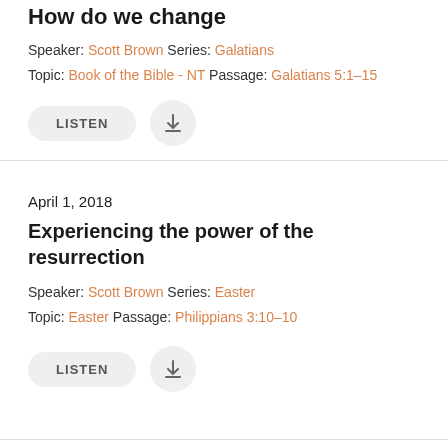How do we change
Speaker: Scott Brown Series: Galatians
Topic: Book of the Bible - NT Passage: Galatians 5:1–15
[Figure (other): LISTEN button and download icon button]
April 1, 2018
Experiencing the power of the resurrection
Speaker: Scott Brown Series: Easter
Topic: Easter Passage: Philippians 3:10–10
[Figure (other): LISTEN button and download icon button]